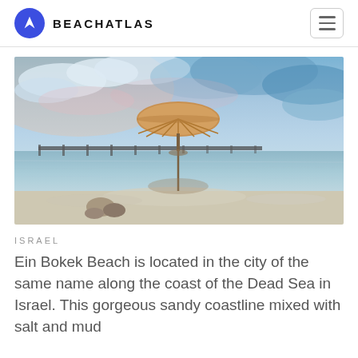BEACHATLAS
[Figure (photo): A beach scene at Ein Bokek on the Dead Sea in Israel, showing a thatched umbrella standing in shallow reflective water with a long pier/walkway in the background, dramatic cloudy blue sky, and salt/mineral formations on the sandy shore in the foreground.]
ISRAEL
Ein Bokek Beach is located in the city of the same name along the coast of the Dead Sea in Israel. This gorgeous sandy coastline mixed with salt and mud